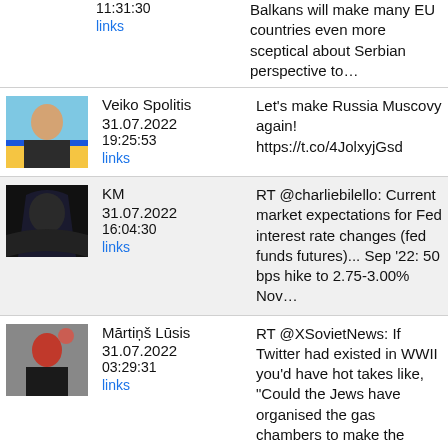11:31:30
links
Balkans will make many EU countries even more sceptical about Serbian perspective to…
Veiko Spolitis
31.07.2022
19:25:53
links
Let's make Russia Muscovy again! https://t.co/4JolxyjGsd
KM
31.07.2022
16:04:30
links
RT @charliebilello: Current market expectations for Fed interest rate changes (fed funds futures)... Sep '22: 50 bps hike to 2.75-3.00% Nov…
Mārtiņš Lūsis
31.07.2022
03:29:31
links
RT @XSovietNews: If Twitter had existed in WWII you'd have hot takes like, "Could the Jews have organised the gas chambers to make the Germ…
Artis
RT @EmmaCEA1: You need